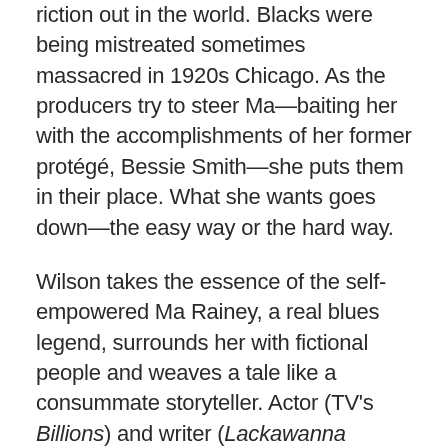riction out in the world. Blacks were being mistreated sometimes massacred in 1920s Chicago. As the producers try to steer Ma—baiting her with the accomplishments of her former protégé, Bessie Smith—she puts them in their place. What she wants goes down—the easy way or the hard way.
Wilson takes the essence of the self-empowered Ma Rainey, a real blues legend, surrounds her with fictional people and weaves a tale like a consummate storyteller. Actor (TV's Billions) and writer (Lackawanna Blues) Ruben Santiago-Hudson adapts Wilson's 1982 play and it's hard to distinguish what is new and old, even if you saw the original Broadway show. The premise, characters and some settings are the same. If there are tweaks in the dialogue none will be